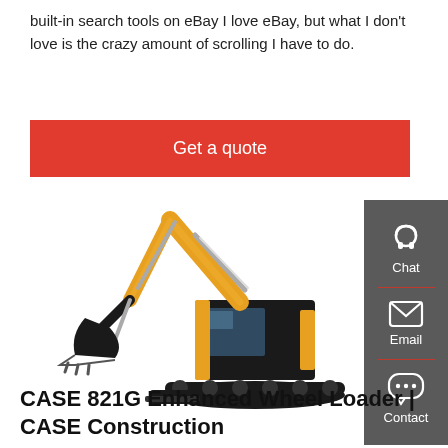built-in search tools on eBay I love eBay, but what I don't love is the crazy amount of scrolling I have to do.
Get a quote
[Figure (photo): Yellow and black mini excavator / compact track loader on white background]
CASE 821G Enhanced Wheel Loader | CASE Construction